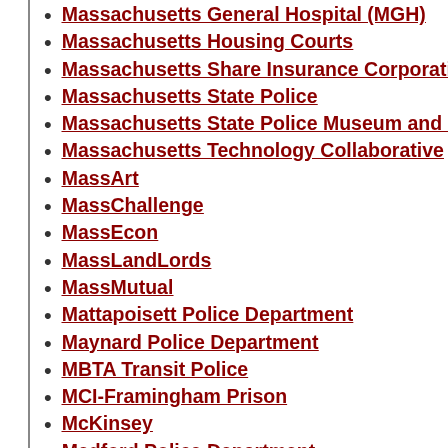Massachusetts General Hospital (MGH)
Massachusetts Housing Courts
Massachusetts Share Insurance Corporation (MSI…)
Massachusetts State Police
Massachusetts State Police Museum and Learning…
Massachusetts Technology Collaborative
MassArt
MassChallenge
MassEcon
MassLandLords
MassMutual
Mattapoisett Police Department
Maynard Police Department
MBTA Transit Police
MCI-Framingham Prison
McKinsey
Medford Police Department
Medway Police Department
Melrose Police Department
Mendon Police Department